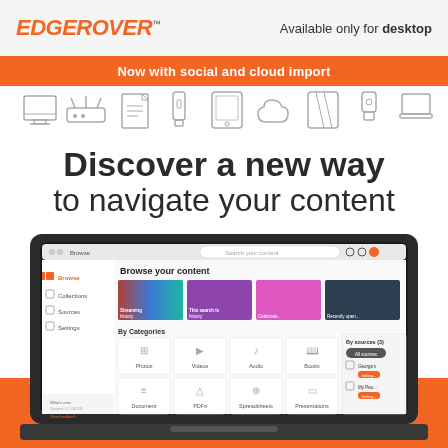[Figure (logo): EdgeRover logo in orange italic text with TM mark]
Available only for desktop
Now with social and cloud import
[Figure (illustration): Row of device icons: desktop monitor, router/scanner, document, USB stick, tablet, cloud, mirror/tablet, USB drive, laptop]
Discover a new way to navigate your content
[Figure (screenshot): EdgeRover desktop application screenshot showing Browse your content UI with categories (Photos, Videos, Audio, Books, Documents, PDFs, Spreadsheets, Presentations) and featured content thumbnails, displayed inside a laptop frame with orange bottom background]